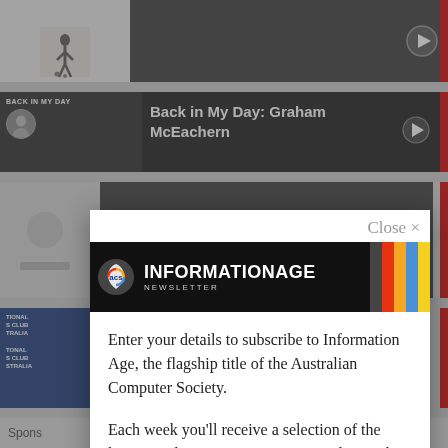[Figure (screenshot): Background website content showing video thumbnails for 'Back in My Day: Graham McEachern' series and other videos, with red accent bars on right side. Background is partially obscured by modal overlay.]
[Figure (screenshot): Modal dialog popup with ACS Information Age Newsletter banner (black background with colored stripes), close button, subscription invitation text, and email address label.]
Enter your details to subscribe to Information Age, the flagship title of the Australian Computer Society.
Each week you'll receive a selection of the latest articles so you can stay up to date with the latest news, analysis and opinion.
Email address: